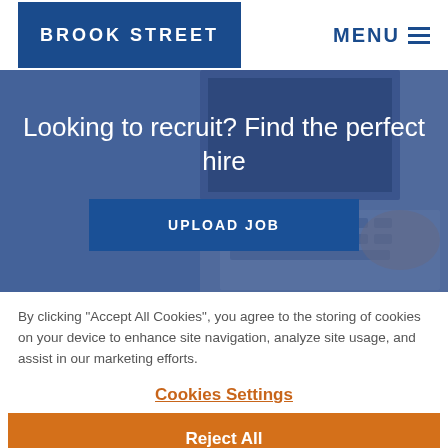BROOK STREET | MENU
[Figure (screenshot): Hero banner with blurred laptop keyboard background and blue overlay, containing the heading 'Looking to recruit? Find the perfect hire' and an 'UPLOAD JOB' button]
By clicking “Accept All Cookies”, you agree to the storing of cookies on your device to enhance site navigation, analyze site usage, and assist in our marketing efforts.
Cookies Settings
Reject All